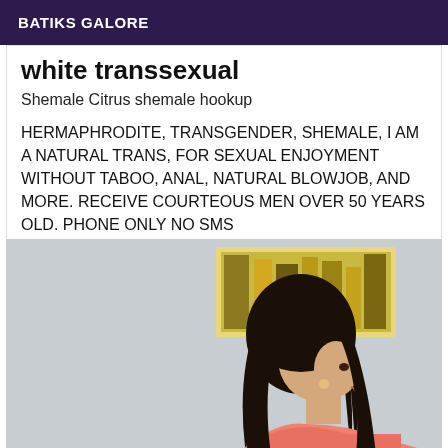BATIKS GALORE
white transsexual
Shemale Citrus shemale hookup
HERMAPHRODITE, TRANSGENDER, SHEMALE, I AM A NATURAL TRANS, FOR SEXUAL ENJOYMENT WITHOUT TABOO, ANAL, NATURAL BLOWJOB, AND MORE. RECEIVE COURTEOUS MEN OVER 50 YEARS OLD. PHONE ONLY NO SMS
[Figure (photo): A person with long dark hair seen from behind/side, wearing a pink/coral top, standing in a room with a colorful artwork/painting on the wall behind them.]